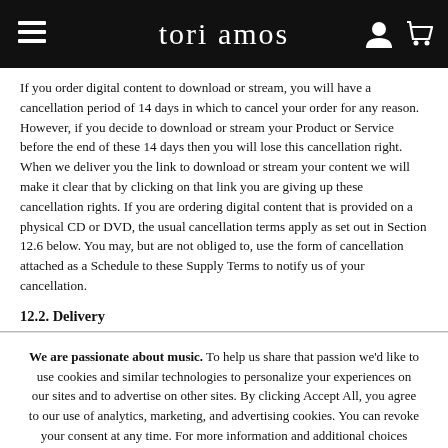tori amos
If you order digital content to download or stream, you will have a cancellation period of 14 days in which to cancel your order for any reason. However, if you decide to download or stream your Product or Service before the end of these 14 days then you will lose this cancellation right. When we deliver you the link to download or stream your content we will make it clear that by clicking on that link you are giving up these cancellation rights. If you are ordering digital content that is provided on a physical CD or DVD, the usual cancellation terms apply as set out in Section 12.6 below. You may, but are not obliged to, use the form of cancellation attached as a Schedule to these Supply Terms to notify us of your cancellation.
12.2. Delivery
We are passionate about music. To help us share that passion we'd like to use cookies and similar technologies to personalize your experiences on our sites and to advertise on other sites. By clicking Accept All, you agree to our use of analytics, marketing, and advertising cookies. You can revoke your consent at any time. For more information and additional choices click on Cookie Choices below. Privacy Policy.